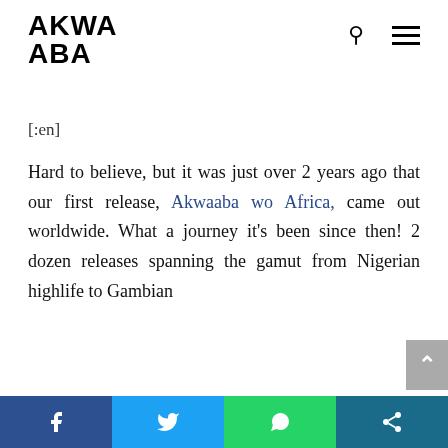AKWA ABA
[:en]
Hard to believe, but it was just over 2 years ago that our first release, Akwaaba wo Africa, came out worldwide. What a journey it's been since then! 2 dozen releases spanning the gamut from Nigerian highlife to Gambian
f  Twitter  WhatsApp  Share